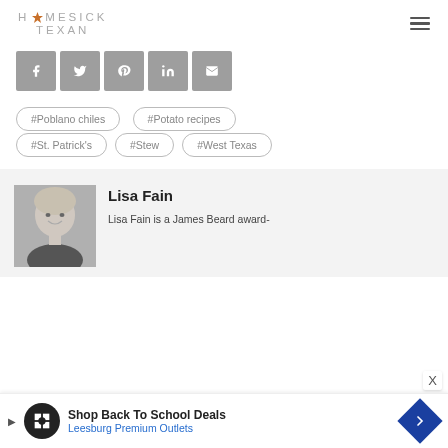HOMESICK TEXAN
[Figure (screenshot): Social share buttons: Facebook, Twitter, Pinterest, LinkedIn, Email]
#Poblano chiles
#Potato recipes
#St. Patrick's
#Stew
#West Texas
[Figure (photo): Black and white photo of Lisa Fain, a woman with short blonde hair smiling]
Lisa Fain
Lisa Fain is a James Beard award-
[Figure (screenshot): Advertisement banner: Shop Back To School Deals - Leesburg Premium Outlets]